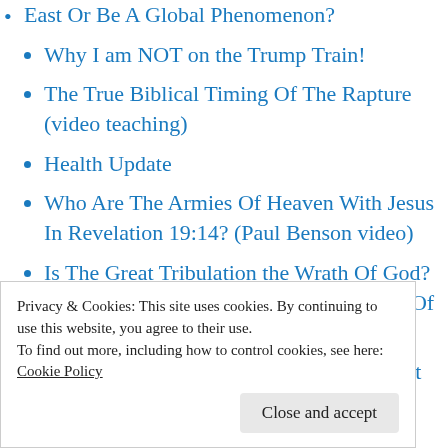East Or Be A Global Phenomenon?
Why I am NOT on the Trump Train!
The True Biblical Timing Of The Rapture (video teaching)
Health Update
Who Are The Armies Of Heaven With Jesus In Revelation 19:14? (Paul Benson video)
Is The Great Tribulation the Wrath Of God? part 3 The Biblical Timing Of The Wrath Of God In The Last Days.
Is The Great Tribulation God's Wrath? part
Privacy & Cookies: This site uses cookies. By continuing to use this website, you agree to their use.
To find out more, including how to control cookies, see here: Cookie Policy
(compilation)